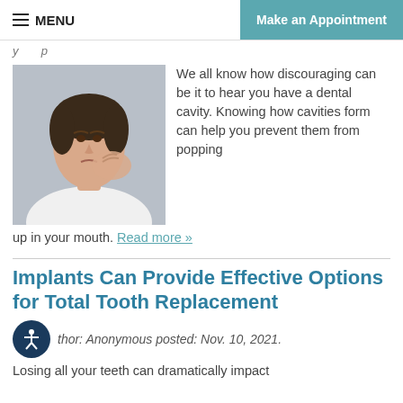MENU | Make an Appointment
...y...p...
[Figure (photo): Woman in white shirt holding her jaw/cheek in pain, dental pain expression]
We all know how discouraging can be it to hear you have a dental cavity. Knowing how cavities form can help you prevent them from popping up in your mouth. Read more »
Implants Can Provide Effective Options for Total Tooth Replacement
Author: Anonymous posted: Nov. 10, 2021.
Losing all your teeth can dramatically impact...